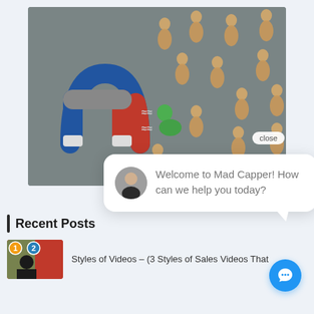[Figure (photo): Photo of a horseshoe magnet (red and blue) attracting a green wooden figure among many beige wooden figures on a gray background, representing lead attraction or customer targeting.]
close
Welcome to Mad Capper! How can we help you today?
Recent Posts
[Figure (photo): Thumbnail image with numbered puzzle pieces (1 and 2) showing a person, likely a YouTube-style thumbnail for a sales video post.]
Styles of Videos – (3 Styles of Sales Videos That